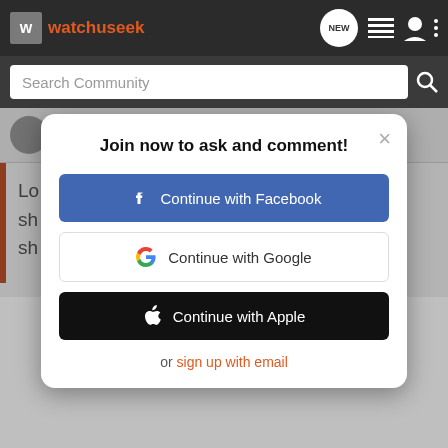watchuseek
Search Community
Joined Jun 26, 2018 · 709 Posts
Join now to ask and comment!
Continue with Facebook
Continue with Google
Continue with Apple
or sign up with email
Mr. Ja
What a
long ito
BitLife - Life Simulator
Install!
$1000